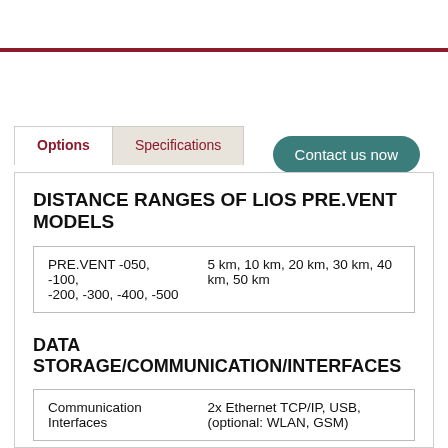Contact us now
Options
Specifications
DISTANCE RANGES OF LIOS PRE.VENT MODELS
| PRE.VENT -050, -100, -200, -300, -400, -500 | 5 km, 10 km, 20 km, 30 km, 40 km, 50 km |
DATA STORAGE/COMMUNICATION/INTERFACES
| Communication Interfaces | 2x Ethernet TCP/IP, USB, (optional: WLAN, GSM) |